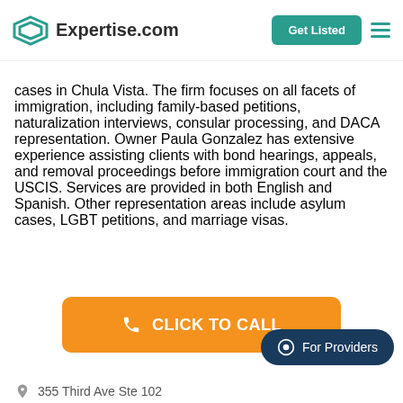Expertise.com | Get Listed
cases in Chula Vista. The firm focuses on all facets of immigration, including family-based petitions, naturalization interviews, consular processing, and DACA representation. Owner Paula Gonzalez has extensive experience assisting clients with bond hearings, appeals, and removal proceedings before immigration court and the USCIS. Services are provided in both English and Spanish. Other representation areas include asylum cases, LGBT petitions, and marriage visas.
[Figure (other): Orange CLICK TO CALL button]
[Figure (other): Dark teal 'For Providers' chat pill button]
355 Third Ave Ste 102